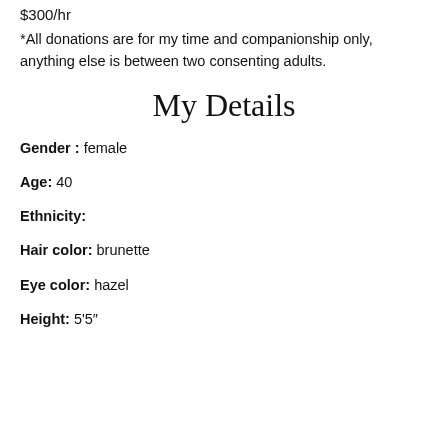$300/hr
*All donations are for my time and companionship only, anything else is between two consenting adults.
My Details
Gender : female
Age: 40
Ethnicity:
Hair color: brunette
Eye color: hazel
Height: 5'5"